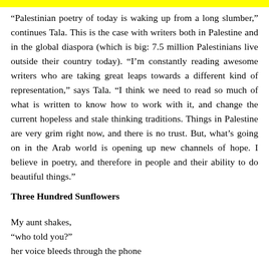“Palestinian poetry of today is waking up from a long slumber,” continues Tala. This is the case with writers both in Palestine and in the global diaspora (which is big: 7.5 million Palestinians live outside their country today). “I’m constantly reading awesome writers who are taking great leaps towards a different kind of representation,” says Tala. “I think we need to read so much of what is written to know how to work with it, and change the current hopeless and stale thinking traditions. Things in Palestine are very grim right now, and there is no trust. But, what’s going on in the Arab world is opening up new channels of hope. I believe in poetry, and therefore in people and their ability to do beautiful things.”
Three Hundred Sunflowers
My aunt shakes,
“who told you?”
her voice bleeds through the phone